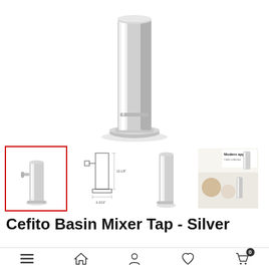[Figure (photo): Large product photo of a chrome/silver tall basin mixer tap faucet, showing the cylindrical body with spout, on a white background.]
[Figure (photo): Thumbnail 1 (selected, red border): Full view of the chrome basin mixer tap faucet.]
[Figure (engineering-diagram): Thumbnail 2: Technical line drawing / schematic of the basin mixer tap with dimensions indicated.]
[Figure (photo): Thumbnail 3: Side/front view of the chrome basin tap body.]
[Figure (photo): Thumbnail 4: Lifestyle/marketing image showing 'Modern appeal' text with the tap installed in a bathroom setting.]
Cefito Basin Mixer Tap - Silver
Navigation bar with menu, home, account, wishlist, and cart (0) icons.